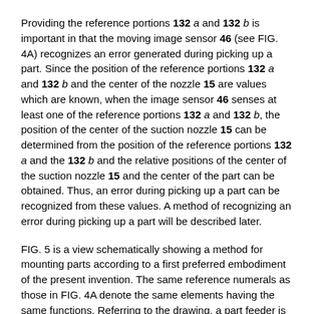Providing the reference portions 132 a and 132 b is important in that the moving image sensor 46 (see FIG. 4A) recognizes an error generated during picking up a part. Since the position of the reference portions 132 a and 132 b and the center of the nozzle 15 are values which are known, when the image sensor 46 senses at least one of the reference portions 132 a and 132 b, the position of the center of the suction nozzle 15 can be determined from the position of the reference portions 132 a and the 132 b and the relative positions of the center of the suction nozzle 15 and the center of the part can be obtained. Thus, an error during picking up a part can be recognized from these values. A method of recognizing an error during picking up a part will be described later.
FIG. 5 is a view schematically showing a method for mounting parts according to a first preferred embodiment of the present invention. The same reference numerals as those in FIG. 4A denote the same elements having the same functions. Referring to the drawing, a part feeder is a tray feeder, a stick feeder or a general feeder in which parts are wound around a reel. Five part feeders 18 a, 18 b,